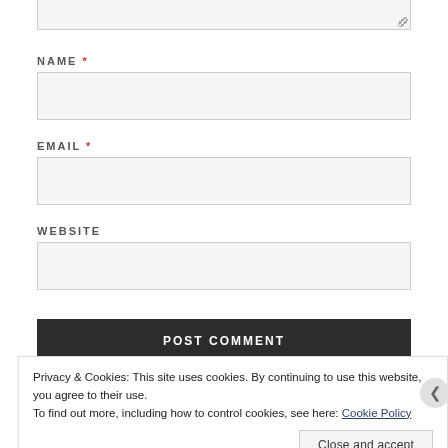[Figure (screenshot): Partial textarea input box at top of page (bottom portion visible)]
NAME *
[Figure (screenshot): NAME input text field (empty, light gray background)]
EMAIL *
[Figure (screenshot): EMAIL input text field (empty, light gray background)]
WEBSITE
[Figure (screenshot): WEBSITE input text field (empty, light gray background)]
[Figure (screenshot): POST COMMENT dark button]
Privacy & Cookies: This site uses cookies. By continuing to use this website, you agree to their use.
To find out more, including how to control cookies, see here: Cookie Policy
Close and accept